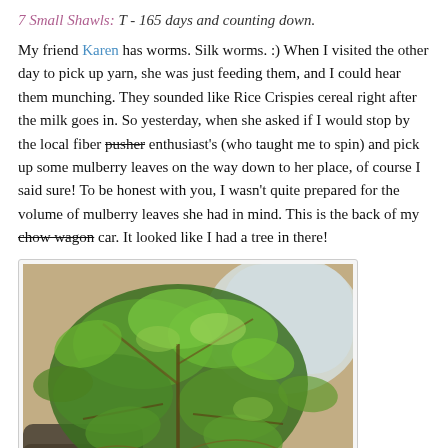7 Small Shawls: T - 165 days and counting down.
My friend Karen has worms. Silk worms. :) When I visited the other day to pick up yarn, she was just feeding them, and I could hear them munching. They sounded like Rice Crispies cereal right after the milk goes in. So yesterday, when she asked if I would stop by the local fiber pusher enthusiast's (who taught me to spin) and pick up some mulberry leaves on the way down to her place, of course I said sure! To be honest with you, I wasn't quite prepared for the volume of mulberry leaves she had in mind. This is the back of my chow wagon car. It looked like I had a tree in there!
[Figure (photo): Photo of large branches with green mulberry leaves piled in the back of a car, viewed through the car window.]
Apparently, this will barely get them through the weekend. They are eating